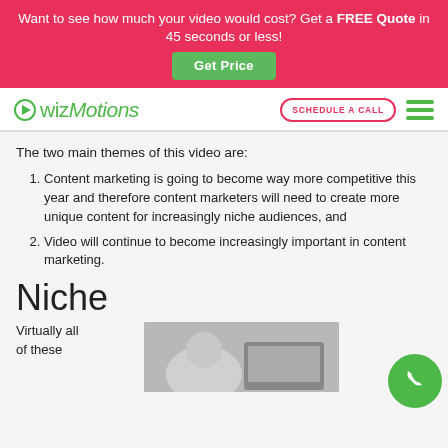Want to see how much your video would cost? Get a FREE Quote in 45 seconds or less!
[Figure (logo): wizMotions logo with green play-button icon and green italic text]
The two main themes of this video are:
Content marketing is going to become way more competitive this year and therefore content marketers will need to create more unique content for increasingly niche audiences, and
Video will continue to become increasingly important in content marketing.
Niche
Virtually all of these
[Figure (photo): Photo of a person at a desk with headphones and a laptop]